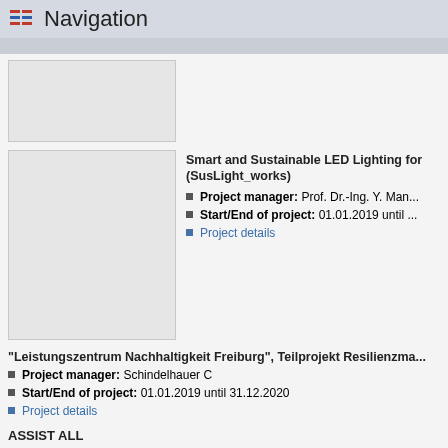Navigation
[Figure (other): Small gray placeholder image box (top)]
[Figure (other): Large gray placeholder image box (bottom)]
Smart and Sustainable LED Lighting for... (SusLight_works)
Project manager: Prof. Dr.-Ing. Y. Man...
Start/End of project: 01.01.2019 until ...
Project details
"Leistungszentrum Nachhaltigkeit Freiburg", Teilprojekt Resilienzma...
Project manager: Schindelhauer C
Start/End of project: 01.01.2019 until 31.12.2020
Project details
ASSIST ALL
Project manager: von Stülpnagel R
Start/End of project: 01.01.2019 until 31.12.2020
Project details